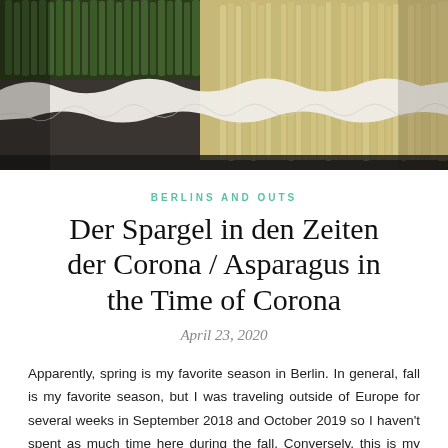[Figure (photo): Photo of white and green asparagus bundles displayed at a market, wrapped with white lace cloth, arranged closely together.]
BERLINS AND OUTS
Der Spargel in den Zeiten der Corona / Asparagus in the Time of Corona
April 23, 2020
Apparently, spring is my favorite season in Berlin. In general, fall is my favorite season, but I was traveling outside of Europe for several weeks in September 2018 and October 2019 so I haven't spent as much time here during the fall. Conversely, this is my third spring spent